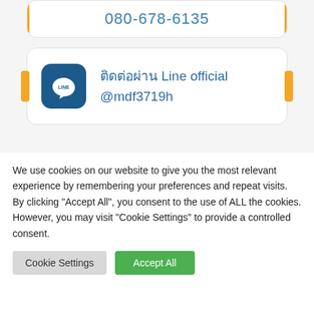080-678-6135
[Figure (screenshot): LINE app icon with white LINE logo on dark blue rounded square background]
ติดต่อผ่าน Line official @mdf3719h
ติดต่อผ่านอีเมา (partially visible)
We use cookies on our website to give you the most relevant experience by remembering your preferences and repeat visits. By clicking "Accept All", you consent to the use of ALL the cookies. However, you may visit "Cookie Settings" to provide a controlled consent.
Cookie Settings
Accept All